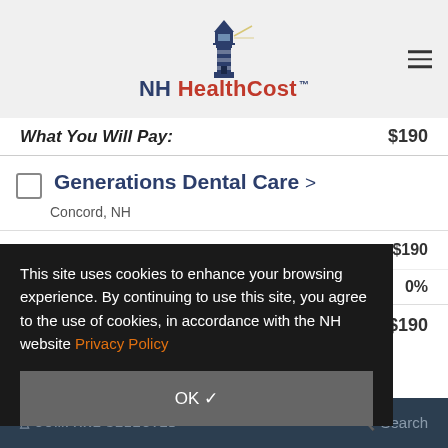NH HealthCost
What You Will Pay:  $190
Generations Dental Care  Concord, NH
Estimate of Procedure Cost: $190
0%
What You Will Pay: $190
This site uses cookies to enhance your browsing experience. By continuing to use this site, you agree to the use of cookies, in accordance with the NH website Privacy Policy
OK ✓
COMPARE SELECTED   Search